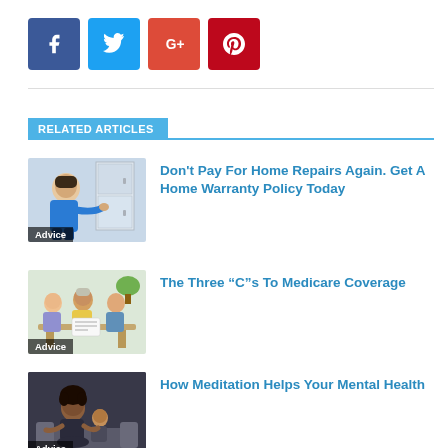[Figure (other): Social sharing buttons: Facebook (blue), Twitter (cyan), Google+ (red-orange), Pinterest (red)]
RELATED ARTICLES
[Figure (photo): Technician repairing refrigerator in kitchen - labeled Advice]
Don't Pay For Home Repairs Again. Get A Home Warranty Policy Today
[Figure (photo): Group of people at a table, appears to be an advisory meeting - labeled Advice]
The Three “C”s To Medicare Coverage
[Figure (photo): Woman meditating indoors - labeled Advice]
How Meditation Helps Your Mental Health